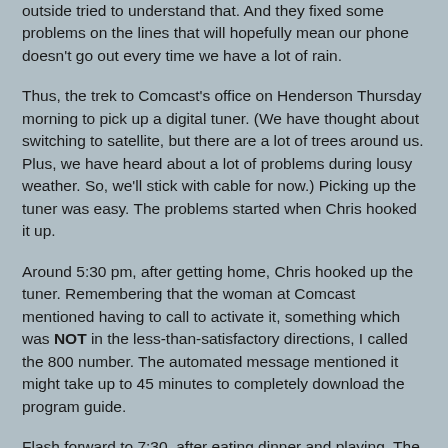outside tried to understand that. And they fixed some problems on the lines that will hopefully mean our phone doesn't go out every time we have a lot of rain.
Thus, the trek to Comcast's office on Henderson Thursday morning to pick up a digital tuner. (We have thought about switching to satellite, but there are a lot of trees around us. Plus, we have heard about a lot of problems during lousy weather. So, we'll stick with cable for now.) Picking up the tuner was easy. The problems started when Chris hooked it up.
Around 5:30 pm, after getting home, Chris hooked up the tuner. Remembering that the woman at Comcast mentioned having to call to activate it, something which was NOT in the less-than-satisfactory directions, I called the 800 number. The automated message mentioned it might take up to 45 minutes to completely download the program guide.
Flash forward to 7:30, after eating dinner and playing. The boys like to watch a show before bed; it helps wind them down. Still no tv. No channels, no channel guide, the remote did nothing. So I called to report trouble and get another